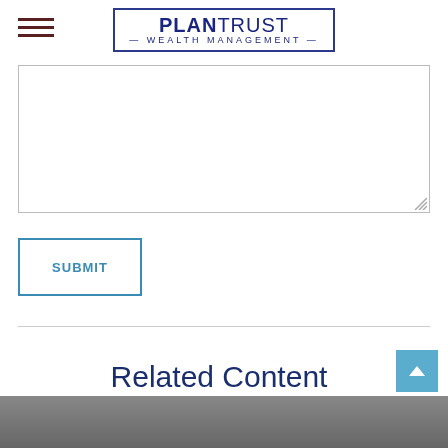PlanTrust Wealth Management
[Figure (screenshot): Text area input field with resize handle at bottom right]
SUBMIT
Related Content
[Figure (photo): Partial photo visible at the bottom of the page, appears grayscale]